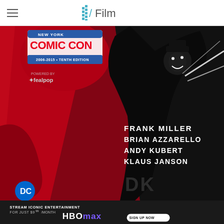/Film
[Figure (illustration): New York Comic Con 2006-2015 Tenth Edition comic book cover showing a Batman-like dark silhouette figure in red and black with dramatic lighting. Text credits: FRANK MILLER, BRIAN AZZARELLO, ANDY KUBERT, KLAUS JANSON. DC Comics logo visible at bottom left. fealpop logo visible at upper left.]
[Figure (other): HBO Max advertisement banner: STREAM ICONIC ENTERTAINMENT FOR JUST $9.99/MONTH with HBO max logo and SIGN UP NOW button]